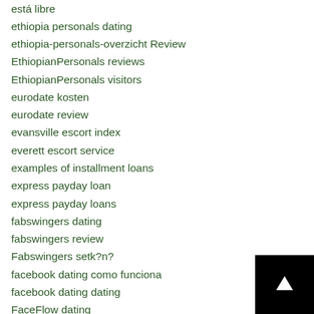está libre
ethiopia personals dating
ethiopia-personals-overzicht Review
EthiopianPersonals reviews
EthiopianPersonals visitors
eurodate kosten
eurodate review
evansville escort index
everett escort service
examples of installment loans
express payday loan
express payday loans
fabswingers dating
fabswingers review
Fabswingers setk?n?
facebook dating como funciona
facebook dating dating
FaceFlow dating
faceflow kosten